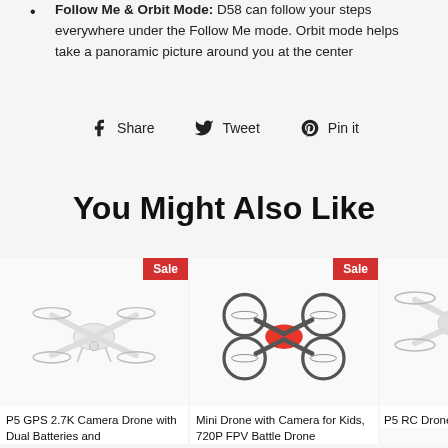Follow Me & Orbit Mode: D58 can follow your steps everywhere under the Follow Me mode. Orbit mode helps take a panoramic picture around you at the center
Share  Tweet  Pin it
You Might Also Like
[Figure (photo): P5 GPS 2.7K Camera Drone with Dual Batteries and ... — white drone product photo with Sale badge]
P5 GPS 2.7K Camera Drone with Dual Batteries and
[Figure (photo): Mini Drone with Camera for Kids, 720P FPV Battle Drone — red and black mini drone product photo with Sale badge]
Mini Drone with Camera for Kids, 720P FPV Battle Drone
[Figure (photo): P5 RC Drones with Camera and 2 ... — partial product image]
P5 RC Drones with Camera and 2